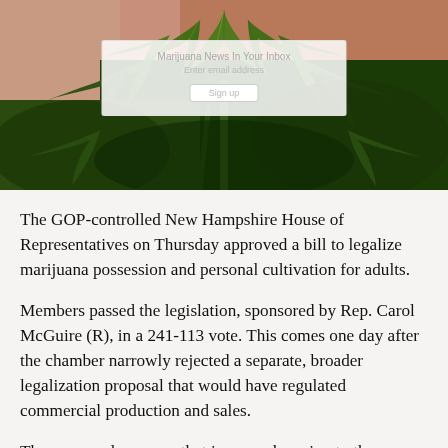[Figure (photo): Close-up photograph of cannabis (marijuana) plant with green leaves, with a salmon/terracotta wall visible in the background. A newsletter signup overlay appears on top of the lower portion of the image.]
The GOP-controlled New Hampshire House of Representatives on Thursday approved a bill to legalize marijuana possession and personal cultivation for adults.
Members passed the legislation, sponsored by Rep. Carol McGuire (R), in a 241-113 vote. This comes one day after the chamber narrowly rejected a separate, broader legalization proposal that would have regulated commercial production and sales.
The approved measure that is now advancing to the